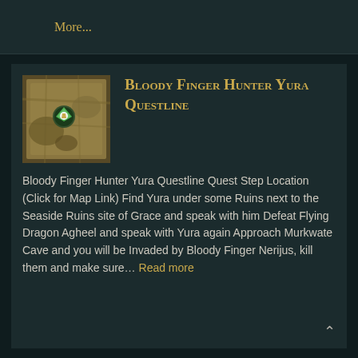More...
[Figure (screenshot): Small map thumbnail showing a location marker with a green icon on a parchment-style game map]
Bloody Finger Hunter Yura Questline
Bloody Finger Hunter Yura Questline Quest Step Location (Click for Map Link) Find Yura under some Ruins next to the Seaside Ruins site of Grace and speak with him Defeat Flying Dragon Agheel and speak with Yura again Approach Murkwate Cave and you will be Invaded by Bloody Finger Nerijus, kill them and make sure... Read more